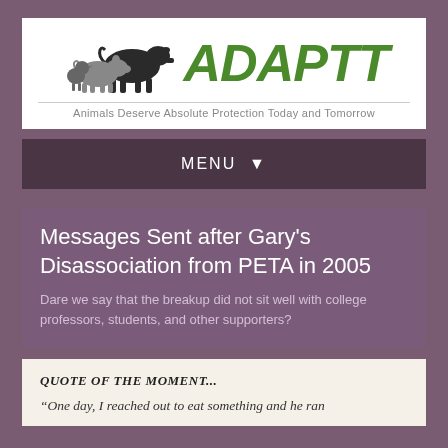[Figure (logo): ADAPTT logo with animal silhouettes (cow, pig, chicken) in dark grey and the text ADAPTT in green italic letters, with tagline 'Animals Deserve Absolute Protection Today and Tomorrow']
MENU ▾
Messages Sent after Gary's Disassociation from PETA in 2005
Dare we say that the breakup did not sit well with college professors, students, and other supporters?
QUOTE OF THE MOMENT...
“One day, I reached out to eat something and he ran